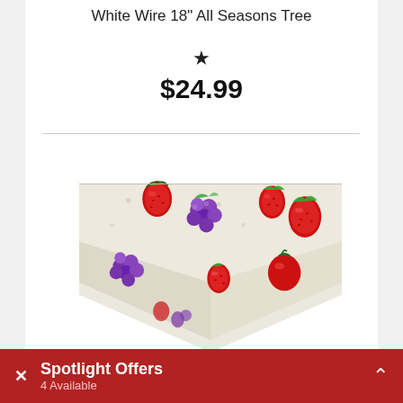White Wire 18" All Seasons Tree
★
$24.99
[Figure (photo): A vinyl tablecloth with a colorful fruit harvest pattern featuring strawberries, grapes, and other fruits on a light textured background, draped over a table corner.]
Fruit Harvest Vinyl Tablecover
★
Spotlight Offers — 4 Available